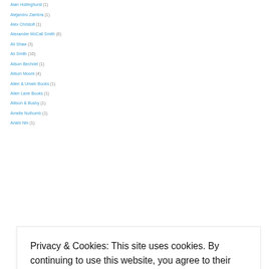Alan Hollinghurst (1)
Alejandro Zambra (1)
Alex Christofi (1)
Alexander McCall Smith (6)
Ali Shaw (3)
Ali Smith (10)
Alison Bechdel (1)
Alison Moore (4)
Allen & Unwin Books (1)
Allen Lane Books (1)
Allison & Busby (1)
Amelie Nothomb (1)
Anaïs Nin (1)
Privacy & Cookies: This site uses cookies. By continuing to use this website, you agree to their use. To find out more, including how to control cookies, see here: Cookie Policy